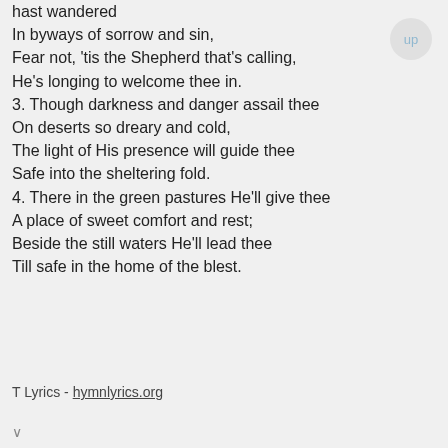hast wandered In byways of sorrow and sin, Fear not, 'tis the Shepherd that's calling, He's longing to welcome thee in. 3. Though darkness and danger assail thee On deserts so dreary and cold, The light of His presence will guide thee Safe into the sheltering fold. 4. There in the green pastures He'll give thee A place of sweet comfort and rest; Beside the still waters He'll lead thee Till safe in the home of the blest.
T Lyrics - hymnlyrics.org